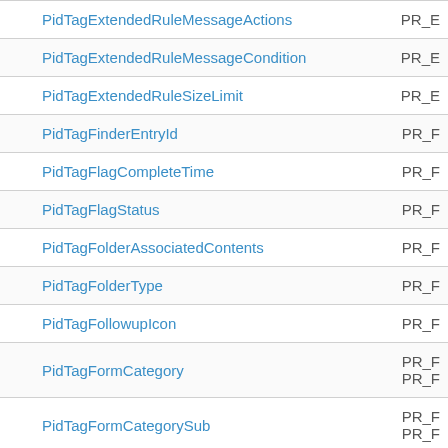| Property Name | Canonical Name |
| --- | --- |
| PidTagExtendedRuleMessageActions | PR_E |
| PidTagExtendedRuleMessageCondition | PR_E |
| PidTagExtendedRuleSizeLimit | PR_E |
| PidTagFinderEntryId | PR_F |
| PidTagFlagCompleteTime | PR_F |
| PidTagFlagStatus | PR_F |
| PidTagFolderAssociatedContents | PR_F |
| PidTagFolderType | PR_F |
| PidTagFollowupIcon | PR_F |
| PidTagFormCategory | PR_F
PR_F |
| PidTagFormCategorySub | PR_F
PR_F |